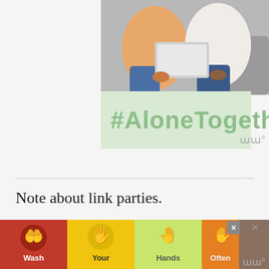[Figure (photo): Two people sitting on a couch, one holding a laptop open. Partial torsos visible from shoulders down.]
#AloneTogether
Note about link parties.
I'm sad to say that link parties are becoming a thing of the past…
Lots of bloggers have stopped hosting and stopped joining as they aren't seeing benefit to their SEO or traffic numbers.
How do I feel about this? I would really miss you guys!
[Figure (other): Advertisement banner showing colorful hand-washing illustrations with text 'Wash Your Hands Often']